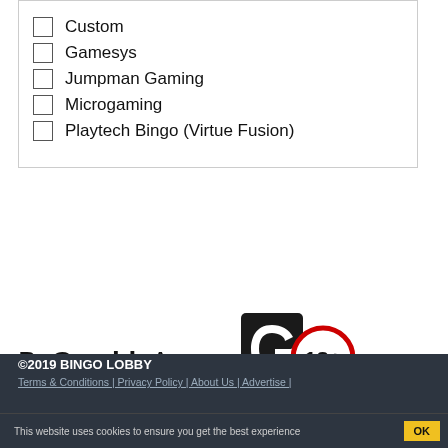Custom
Gamesys
Jumpman Gaming
Microgaming
Playtech Bingo (Virtue Fusion)
[Figure (logo): BeGambleAware logo text with GamCare G logo and 18+ red circle badge]
©2019 BINGO LOBBY
Terms & Conditions | Privacy Policy | About Us | Advertise |
This website uses cookies to ensure you get the best experience